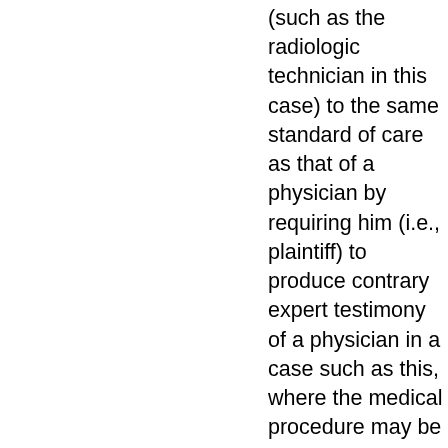(such as the radiologic technician in this case) to the same standard of care as that of a physician by requiring him (i.e., plaintiff) to produce contrary expert testimony of a physician in a case such as this, where the medical procedure may be performed by one other than a physician, operates to violate his constitutional rights to due process and equal protection. We find no merit in this argument. A physician is certainly qualified to render an opinion as to the appropriate standard of care to be utilized in inserting an enema tube into a patient's rectum. So, too, is anyone else who by training and/or experience is shown to be qualified in this procedure. See Division